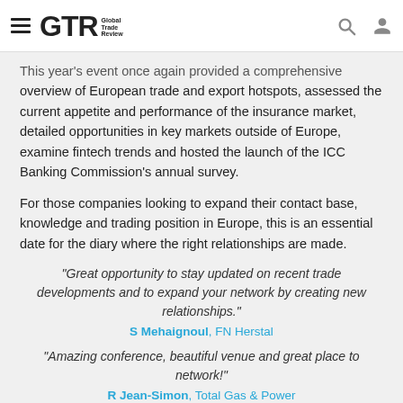GTR Global Trade Review
This year's event once again provided a comprehensive overview of European trade and export hotspots, assessed the current appetite and performance of the insurance market, detailed opportunities in key markets outside of Europe, examine fintech trends and hosted the launch of the ICC Banking Commission's annual survey.
For those companies looking to expand their contact base, knowledge and trading position in Europe, this is an essential date for the diary where the right relationships are made.
“Great opportunity to stay updated on recent trade developments and to expand your network by creating new relationships.” S Mehaignoul, FN Herstal
“Amazing conference, beautiful venue and great place to network!” R Jean-Simon, Total Gas & Power